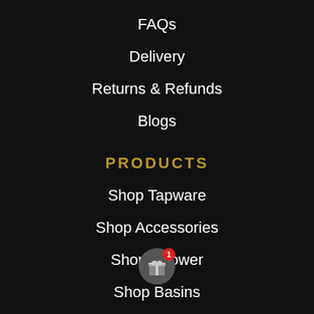FAQs
Delivery
Returns & Refunds
Blogs
PRODUCTS
Shop Tapware
Shop Accessories
Shop Shower
Shop Basins
Shop Flooring
Shop Baths
Shop Tile...
[Figure (illustration): Gift icon badge with red notification count of 1]